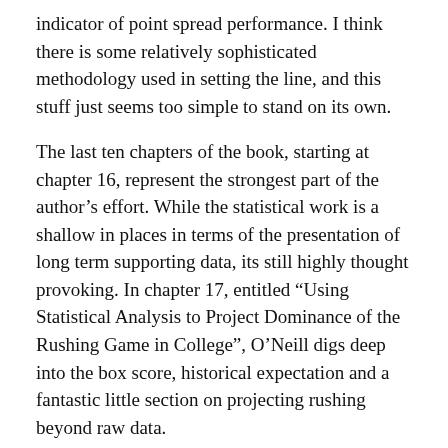indicator of point spread performance. I think there is some relatively sophisticated methodology used in setting the line, and this stuff just seems too simple to stand on its own.
The last ten chapters of the book, starting at chapter 16, represent the strongest part of the author's effort. While the statistical work is a shallow in places in terms of the presentation of long term supporting data, its still highly thought provoking. In chapter 17, entitled “Using Statistical Analysis to Project Dominance of the Rushing Game in College”, O’Neill digs deep into the box score, historical expectation and a fantastic little section on projecting rushing beyond raw data.
Chapter 18 gives us “The Sayonara Strategy: When Coaches Leave for Greener Pastures”. One could probably write a college length dissertation on this subject matter, and O’Neill has a direction for